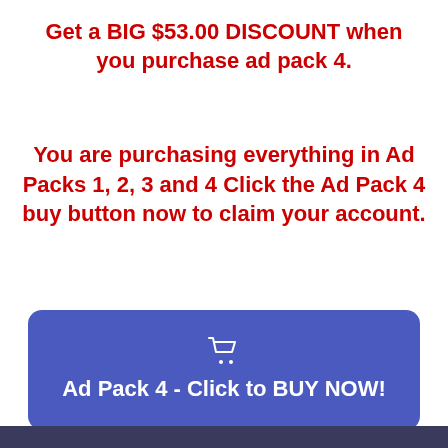Get a BIG $53.00 DISCOUNT when you purchase ad pack 4.
You are purchasing everything in Ad Packs 1, 2, 3 and 4 Click the Ad Pack 4 buy button now to claim your account.
[Figure (other): Blue rounded rectangle button with shopping cart icon and text 'Ad Pack 4 - Click to BUY NOW!']